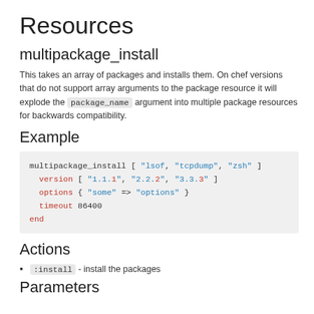Resources
multipackage_install
This takes an array of packages and installs them. On chef versions that do not support array arguments to the package resource it will explode the package_name argument into multiple package resources for backwards compatibility.
Example
[Figure (screenshot): Code block showing multipackage_install example with version, options, timeout, and end keywords]
Actions
:install - install the packages
Parameters